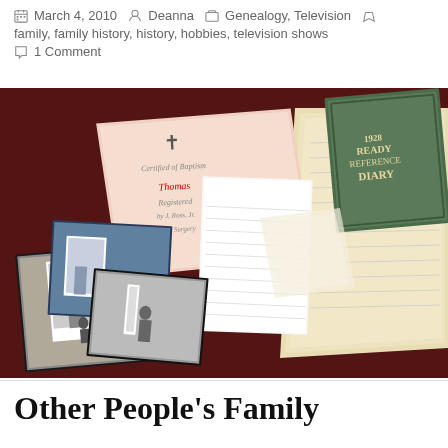March 4, 2010   Deanna   Genealogy, Television   family, family history, history, hobbies, television shows   1 Comment
[Figure (photo): A collection of vintage family history items spread on a dark red surface: old photographs in black and white, handwritten documents, a pink certificate or prayer card with a cross, loose lined notepad paper, a stack of yellowed papers, and a green hardcover 1928 Ready Reference Diary book.]
Other People's Family